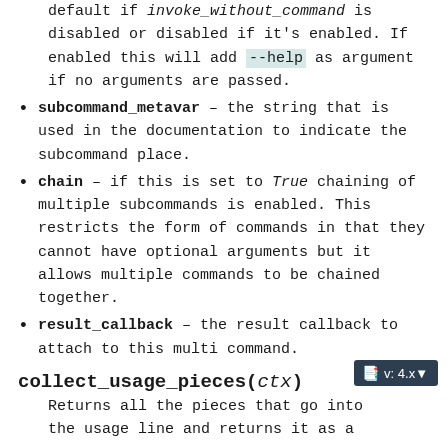default if invoke_without_command is disabled or disabled if it's enabled. If enabled this will add --help as argument if no arguments are passed.
subcommand_metavar – the string that is used in the documentation to indicate the subcommand place.
chain – if this is set to True chaining of multiple subcommands is enabled. This restricts the form of commands in that they cannot have optional arguments but it allows multiple commands to be chained together.
result_callback – the result callback to attach to this multi command.
collect_usage_pieces(ctx)
Returns all the pieces that go into the usage line and returns it as a